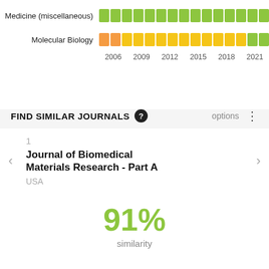[Figure (other): Heatmap grid showing subject category coverage over years 2006-2021 for Medicine (miscellaneous) and Molecular Biology, with colored cells (green, yellow, orange) indicating coverage levels.]
FIND SIMILAR JOURNALS
1
Journal of Biomedical Materials Research - Part A
USA
91% similarity